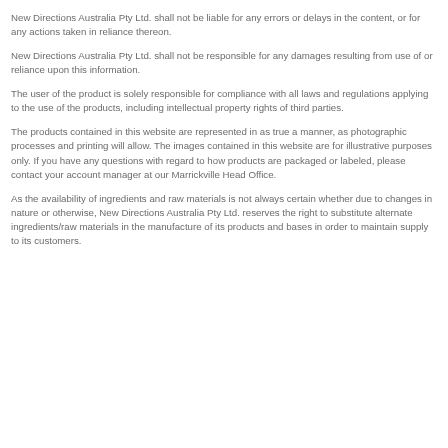New Directions Australia Pty Ltd. shall not be liable for any errors or delays in the content, or for any actions taken in reliance thereon.
New Directions Australia Pty Ltd. shall not be responsible for any damages resulting from use of or reliance upon this information.
The user of the product is solely responsible for compliance with all laws and regulations applying to the use of the products, including intellectual property rights of third parties.
The products contained in this website are represented in as true a manner, as photographic processes and printing will allow. The images contained in this website are for illustrative purposes only. If you have any questions with regard to how products are packaged or labeled, please contact your account manager at our Marrickville Head Office.
As the availability of ingredients and raw materials is not always certain whether due to changes in nature or otherwise, New Directions Australia Pty Ltd. reserves the right to substitute alternate ingredients/raw materials in the manufacture of its products and bases in order to maintain supply to its customers.